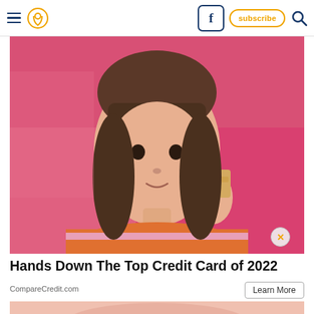Navigation bar with hamburger menu, location pin icon, Facebook button, subscribe button, search icon
[Figure (photo): Young woman with dark hair and bangs, holding a gold/tan credit card up near her face, smiling, wearing an orange and pink striped top, standing against a pink background. An X close button appears in the lower right of the image.]
Hands Down The Top Credit Card of 2022
CompareCredit.com
Learn More
[Figure (photo): Partial image at bottom showing what appears to be skin/hands, cropped.]